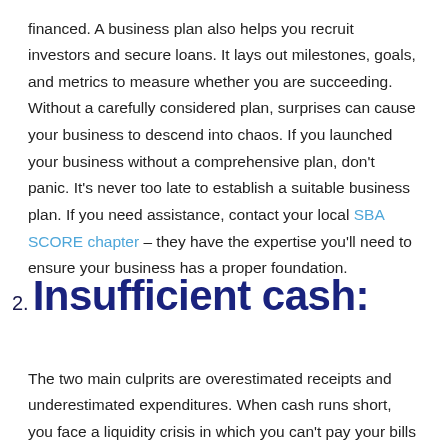financed. A business plan also helps you recruit investors and secure loans. It lays out milestones, goals, and metrics to measure whether you are succeeding. Without a carefully considered plan, surprises can cause your business to descend into chaos. If you launched your business without a comprehensive plan, don't panic. It's never too late to establish a suitable business plan. If you need assistance, contact your local SBA SCORE chapter – they have the expertise you'll need to ensure your business has a proper foundation.
2. Insufficient cash:
The two main culprits are overestimated receipts and underestimated expenditures. When cash runs short, you face a liquidity crisis in which you can't pay your bills on time, if at all. This will eventually